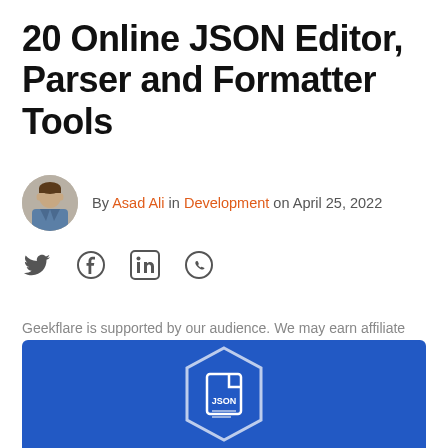20 Online JSON Editor, Parser and Formatter Tools
By Asad Ali in Development on April 25, 2022
[Figure (illustration): Social share icons: Twitter, Facebook, LinkedIn, WhatsApp]
Geekflare is supported by our audience. We may earn affiliate commissions from buying links on this site.
[Figure (illustration): Blue banner with JSON document icon in a hexagon shape]